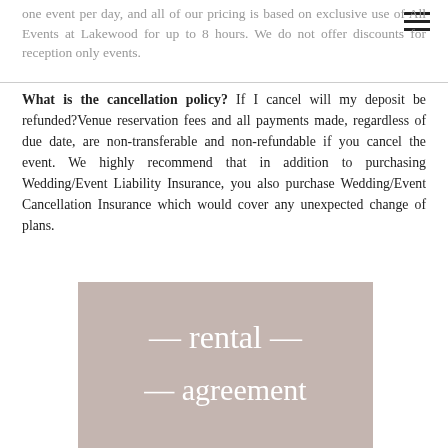one event per day, and all of our pricing is based on exclusive use of All Events at Lakewood for up to 8 hours. We do not offer discounts for reception only events.
What is the cancellation policy? If I cancel will my deposit be refunded?Venue reservation fees and all payments made, regardless of due date, are non-transferable and non-refundable if you cancel the event. We highly recommend that in addition to purchasing Wedding/Event Liability Insurance, you also purchase Wedding/Event Cancellation Insurance which would cover any unexpected change of plans.
[Figure (illustration): Decorative image with a muted pink/mauve background featuring cursive script text reading 'rental agreement']